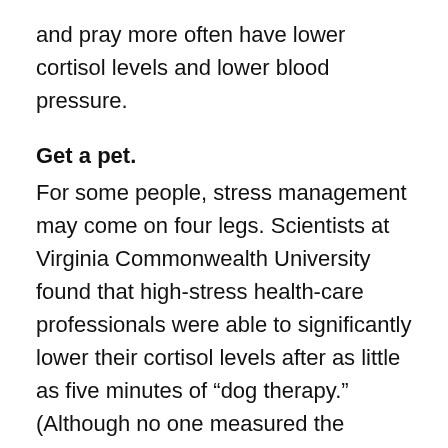and pray more often have lower cortisol levels and lower blood pressure.
Get a pet.
For some people, stress management may come on four legs. Scientists at Virginia Commonwealth University found that high-stress health-care professionals were able to significantly lower their cortisol levels after as little as five minutes of “dog therapy.” (Although no one measured the biochemical balance in the pooches, it is quite possible that they also benefited from playing with the health-care workers.)
Tune in to tunes.
Listening to relaxing music (as compared to sitting in silence) can significantly reduce cortisol levels following a stressful event, according to studies by French scientists.